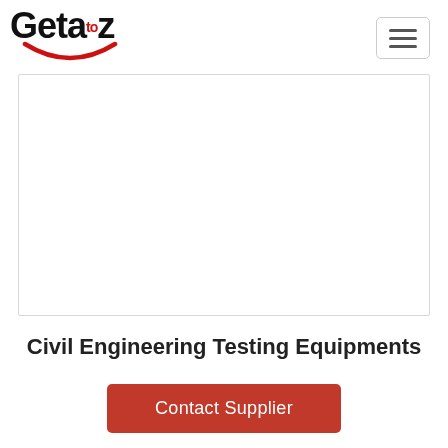[Figure (logo): Geta to z logo with red smile curve underneath]
[Figure (other): Hamburger menu button (three horizontal lines) in rounded rectangle border]
[Figure (other): Grey bordered content box - product image area (empty/white)]
Civil Engineering Testing Equipments
Contact Supplier